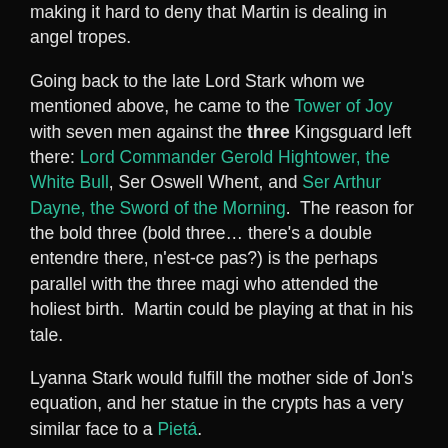making it hard to deny that Martin is dealing in angel tropes.
Going back to the late Lord Stark whom we mentioned above, he came to the Tower of Joy with seven men against the three Kingsguard left there: Lord Commander Gerold Hightower, the White Bull, Ser Oswell Whent, and Ser Arthur Dayne, the Sword of the Morning.  The reason for the bold three (bold three… there's a double entendre there, n'est-ce pas?) is the perhaps parallel with the three magi who attended the holiest birth.  Martin could be playing at that in his tale.
Lyanna Stark would fulfill the mother side of Jon's equation, and her statue in the crypts has a very similar face to a Pietá.